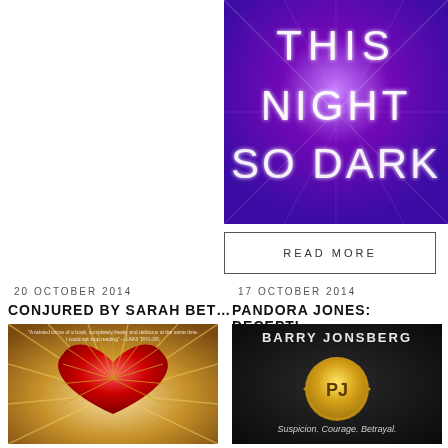[Figure (photo): Book cover for 'This Night So Dark' - purple cosmic/galaxy background with large white text reading 'THIS NIGHT SO DARK']
READ MORE
20 OCTOBER 2014
17 OCTOBER 2014
CONJURED BY SARAH BET...
PANDORA JONES: CEPTI...
[Figure (photo): Book cover for 'Conjured by Sarah Beth Durst' - glowing red heart with golden needles/spikes radiating outward on a warm sunburst background]
[Figure (photo): Book cover for 'Pandora Jones: Deception by Barry Jonsberg' - dark background with a golden wax seal bearing 'PJ' initials, text reads 'Suspicion. Courage. Betrayal.']